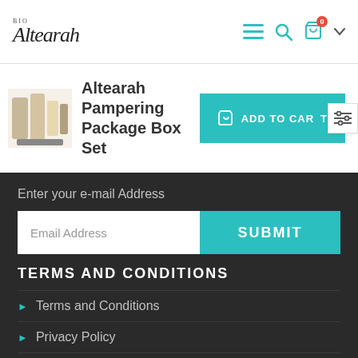[Figure (logo): Altearah Bio logo in stylized italic script]
Altearah Pampering Package Box Set
[Figure (photo): Product photo of Altearah Pampering Package Box Set]
ADD TO CART
Enter your e-mail Address
Email Address
SUBMIT
TERMS AND CONDITIONS
Terms and Conditions
Privacy Policy
Refund Policy
Shipping Policy